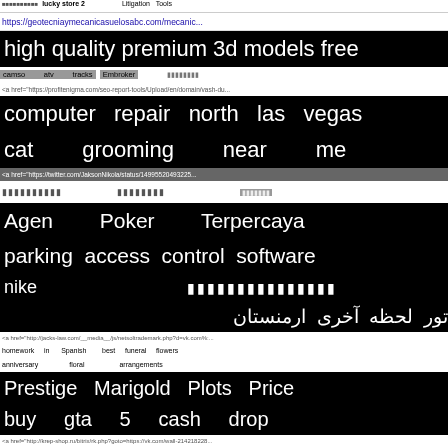https://geotecniaymecanicasuelosabc.com/mecanic...
high quality premium 3d models free
camso atv tracks   Embroker   (non-latin)
<a href="https://profitenigma.com/seo-report-tools/Upload/en/domain/vash-du...
computer repair north las vegas
cat grooming near me
<a href="https://twitter.com/JaksonNikola/status/149955204932259...
(non-latin characters)
Agen Poker Terpercaya
parking access control software
nike   (non-latin characters)
تور لحظه آخری ارمنستان
<a href="http://jacks-law.com/__media__/js/netsoltrademark.php?d=vk.com%:...
homework in Spanish   best funeral flowers
anniversary floral arrangements
Prestige Marigold Plots Price
buy gta 5 cash drop
<a href="http://krep-shop.ru/bitrix/rk.php?goto=https://vk.com/wall-214218228...
(underline) vpn for pc   maglie liverpool
blocked   drains   chertsey